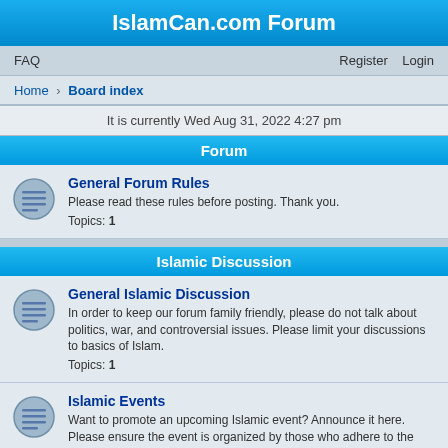IslamCan.com Forum
FAQ   Register   Login
Home › Board index
It is currently Wed Aug 31, 2022 4:27 pm
Forum
General Forum Rules
Please read these rules before posting. Thank you.
Topics: 1
Islamic Discussion
General Islamic Discussion
In order to keep our forum family friendly, please do not talk about politics, war, and controversial issues. Please limit your discussions to basics of Islam.
Topics: 1
Islamic Events
Want to promote an upcoming Islamic event? Announce it here. Please ensure the event is organized by those who adhere to the teachings of the Quran and the Sunnah.
Requests for Dua
Are you or someone you know facing difficulties? This is the place where you can ask others to make dua.